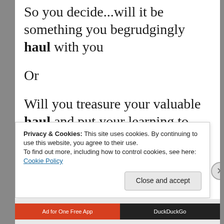So you decide...will it be something you begrudgingly haul with you
Or
Will you treasure your valuable haul and put your learning to good use?
Privacy & Cookies: This site uses cookies. By continuing to use this website, you agree to their use.
To find out more, including how to control cookies, see here: Cookie Policy
Close and accept